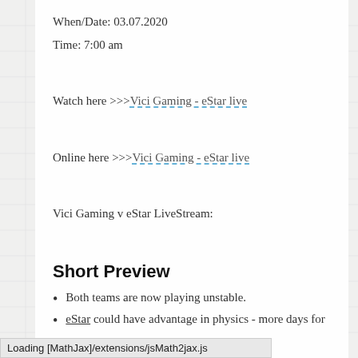When/Date: 03.07.2020
Time: 7:00 am
Watch here >>>Vici Gaming - eStar live
Online here >>>Vici Gaming - eStar live
Vici Gaming v eStar LiveStream:
Short Preview
Both teams are now playing unstable.
eStar could have advantage in physics - more days for
Loading [MathJax]/extensions/jsMath2jax.js